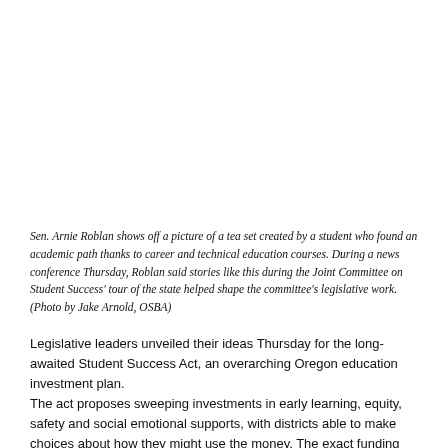Sen. Arnie Roblan shows off a picture of a tea set created by a student who found an academic path thanks to career and technical education courses. During a news conference Thursday, Roblan said stories like this during the Joint Committee on Student Success' tour of the state helped shape the committee's legislative work. (Photo by Jake Arnold, OSBA)
Legislative leaders unveiled their ideas Thursday for the long-awaited Student Success Act, an overarching Oregon education investment plan.
The act proposes sweeping investments in early learning, equity, safety and social emotional supports, with districts able to make choices about how they might use the money. The exact funding mechanism and amounts, which will be part of the act, are still being worked out.